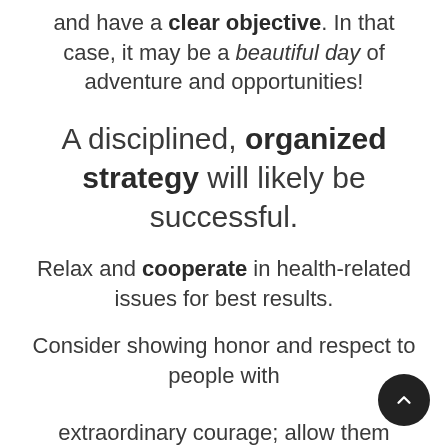and have a clear objective. In that case, it may be a beautiful day of adventure and opportunities!
A disciplined, organized strategy will likely be successful.
Relax and cooperate in health-related issues for best results.
Consider showing honor and respect to people with extraordinary courage; allow them